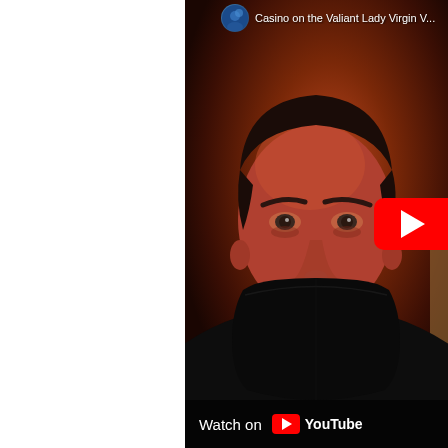[Figure (screenshot): YouTube video thumbnail/embed showing a man wearing a black face mask and black shirt, photographed in a dark reddish-brown interior setting. A YouTube play button is visible on the right side. At the top, a channel icon and partial title text 'Casino on the Valiant Lady Virgin V...' are shown. At the bottom, a 'Watch on YouTube' overlay bar is displayed.]